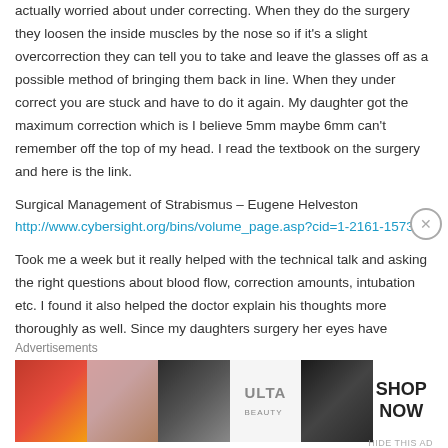actually worried about under correcting. When they do the surgery they loosen the inside muscles by the nose so if it's a slight overcorrection they can tell you to take and leave the glasses off as a possible method of bringing them back in line. When they under correct you are stuck and have to do it again. My daughter got the maximum correction which is I believe 5mm maybe 6mm can't remember off the top of my head. I read the textbook on the surgery and here is the link.
Surgical Management of Strabismus – Eugene Helveston
http://www.cybersight.org/bins/volume_page.asp?cid=1-2161-15732
Took me a week but it really helped with the technical talk and asking the right questions about blood flow, correction amounts, intubation etc. I found it also helped the doctor explain his thoughts more thoroughly as well. Since my daughters surgery her eyes have
Advertisements
[Figure (other): Ulta beauty advertisement banner with makeup imagery and 'SHOP NOW' call to action]